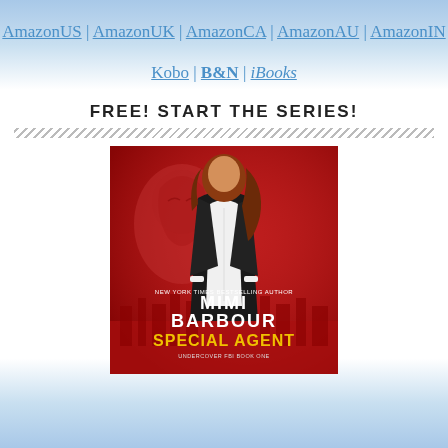AmazonUS | AmazonUK | AmazonCA | AmazonAU | AmazonIN
Kobo | B&N | iBooks
FREE! START THE SERIES!
[Figure (illustration): Book cover for 'Special Agent' by Mimi Barbour, New York Times Bestselling Author. Red-toned cover featuring a woman in a dark blazer with white shirt and a shadowy male face in the background. Undercover FBI Book One.]